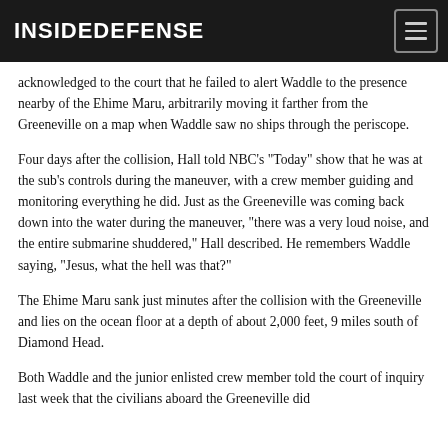INSIDEDEFENSE
acknowledged to the court that he failed to alert Waddle to the presence nearby of the Ehime Maru, arbitrarily moving it farther from the Greeneville on a map when Waddle saw no ships through the periscope.
Four days after the collision, Hall told NBC's "Today" show that he was at the sub's controls during the maneuver, with a crew member guiding and monitoring everything he did. Just as the Greeneville was coming back down into the water during the maneuver, "there was a very loud noise, and the entire submarine shuddered," Hall described. He remembers Waddle saying, "Jesus, what the hell was that?"
The Ehime Maru sank just minutes after the collision with the Greeneville and lies on the ocean floor at a depth of about 2,000 feet, 9 miles south of Diamond Head.
Both Waddle and the junior enlisted crew member told the court of inquiry last week that the civilians aboard the Greeneville did